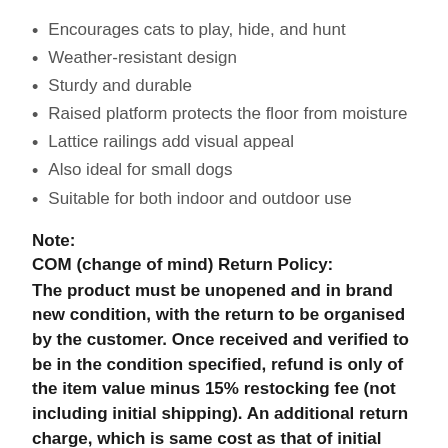Encourages cats to play, hide, and hunt
Weather-resistant design
Sturdy and durable
Raised platform protects the floor from moisture
Lattice railings add visual appeal
Also ideal for small dogs
Suitable for both indoor and outdoor use
Note:
COM (change of mind) Return Policy:
The product must be unopened and in brand new condition, with the return to be organised by the customer. Once received and verified to be in the condition specified, refund is only of the item value minus 15% restocking fee (not including initial shipping). An additional return charge, which is same cost as that of initial shipping, will be deducted from the refund on returns due to delivery failure caused by customer error. For the health and safety of our